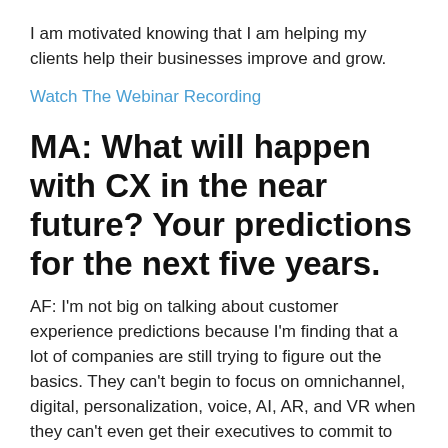I am motivated knowing that I am helping my clients help their businesses improve and grow.
Watch The Webinar Recording
MA: What will happen with CX in the near future? Your predictions for the next five years.
AF: I'm not big on talking about customer experience predictions because I'm finding that a lot of companies are still trying to figure out the basics. They can't begin to focus on omnichannel, digital, personalization, voice, AI, AR, and VR when they can't even get their executives to commit to putting customers at the top of the priority list (right after employees, of course).My focus for the